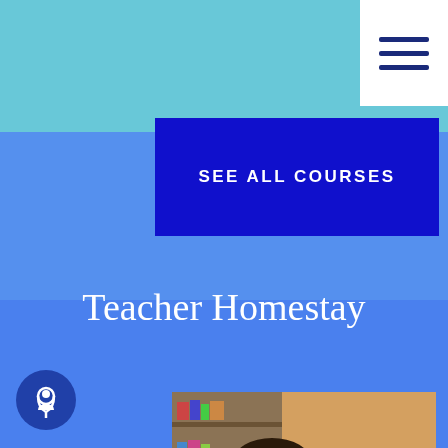[Figure (screenshot): Hamburger/menu icon with three horizontal dark blue lines on white background, top-right corner]
SEE ALL COURSES
Teacher Homestay
[Figure (photo): A man with glasses wearing a denim shirt leaning over and smiling with a woman with brown hair who is also smiling, appearing to look at a document or laptop together in an indoor setting]
[Figure (logo): Chat/support icon - white speech bubble with person silhouette inside dark blue circle, bottom-left corner]